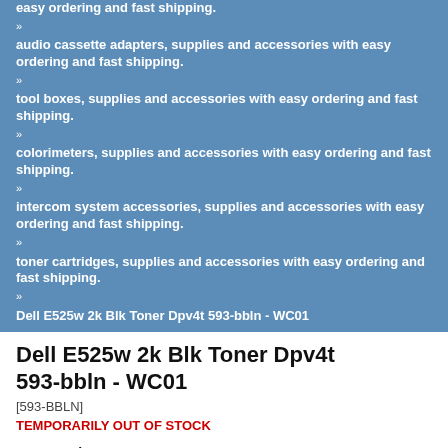easy ordering and fast shipping.
audio cassette adapters, supplies and accessories with easy ordering and fast shipping.
tool boxes, supplies and accessories with easy ordering and fast shipping.
colorimeters, supplies and accessories with easy ordering and fast shipping.
intercom system accessories, supplies and accessories with easy ordering and fast shipping.
toner cartridges, supplies and accessories with easy ordering and fast shipping.
Dell E525w 2k Blk Toner Dpv4t 593-bbln - WC01
Dell E525w 2k Blk Toner Dpv4t 593-bbln - WC01
[593-BBLN]
TEMPORARILY OUT OF STOCK
Part Number: 593-BBLN
Manufacturer: Dell